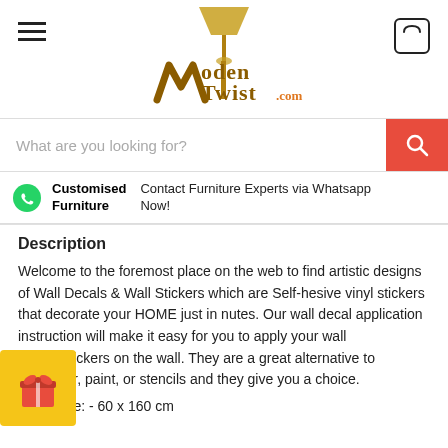[Figure (logo): WoodenTwist.com logo with lamp and stylized W]
What are you looking for?
Customised Furniture  Contact Furniture Experts via Whatsapp Now!
Description
Welcome to the foremost place on the web to find artistic designs of Wall Decals & Wall Stickers which are Self-hesive vinyl stickers that decorate your HOME just in nutes. Our wall decal application instruction will make it easy for you to apply your wall decals/stickers on the wall. They are a great alternative to wallpaper, paint, or stencils and they give you a choice.
Size: - 60 x 160 cm